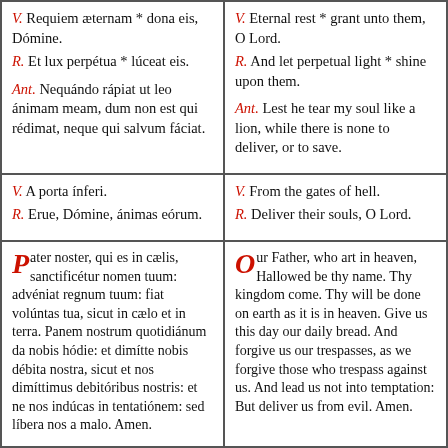V. Requiem æternam * dona eis, Dómine. R. Et lux perpétua * lúceat eis. Ant. Nequándo rápiat ut leo ánimam meam, dum non est qui rédimat, neque qui salvum fáciat.
V. Eternal rest * grant unto them, O Lord. R. And let perpetual light * shine upon them. Ant. Lest he tear my soul like a lion, while there is none to deliver, or to save.
V. A porta ínferi. R. Erue, Dómine, ánimas eórum.
V. From the gates of hell. R. Deliver their souls, O Lord.
Pater noster, qui es in cælis, sanctificétur nomen tuum: advéniat regnum tuum: fiat volúntas tua, sicut in cælo et in terra. Panem nostrum quotidiánum da nobis hódie: et dimítte nobis débita nostra, sicut et nos dimíttimus debitóribus nostris: et ne nos indúcas in tentatiónem: sed líbera nos a malo. Amen.
Our Father, who art in heaven, Hallowed be thy name. Thy kingdom come. Thy will be done on earth as it is in heaven. Give us this day our daily bread. And forgive us our trespasses, as we forgive those who trespass against us. And lead us not into temptation: But deliver us from evil. Amen.